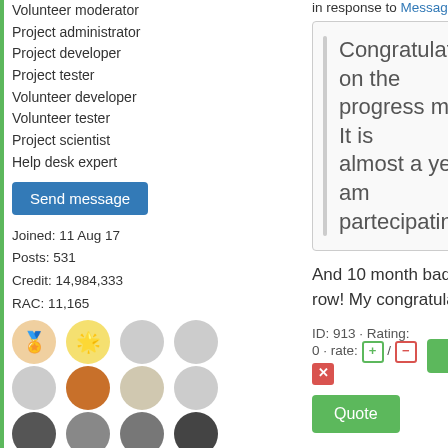Volunteer moderator
Project administrator
Project developer
Project tester
Volunteer developer
Volunteer tester
Project scientist
Help desk expert
Send message
Joined: 11 Aug 17
Posts: 531
Credit: 14,984,333
RAC: 11,165
[Figure (illustration): Grid of circular badge icons showing various animals, plants, insects, and nature items]
in response to Message 911.
Congratulations on the progress made! It is almost a year I am partecipating!
And 10 month badges in a row! My congratulations!
ID: 913 · Rating: 0 · rate: [+] / [-] [x]
Reply
Quote